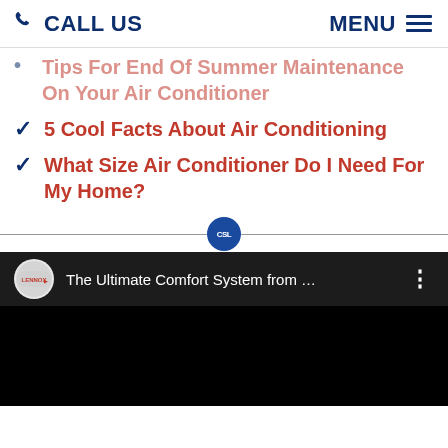CALL US   MENU
Tips For End Of Summer Maintenance On Your Air Conditioner
5 Cool Facts About Air Conditioning
What Size Air Conditioner Do I Need For My Home?
[Figure (screenshot): YouTube video embed showing Lennox logo and title 'The Ultimate Comfort System from ...' on dark background]